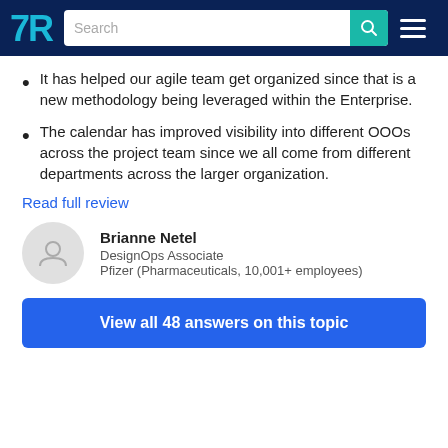TrustRadius - Search
It has helped our agile team get organized since that is a new methodology being leveraged within the Enterprise.
The calendar has improved visibility into different OOOs across the project team since we all come from different departments across the larger organization.
Read full review
Brianne Netel
DesignOps Associate
Pfizer (Pharmaceuticals, 10,001+ employees)
View all 48 answers on this topic